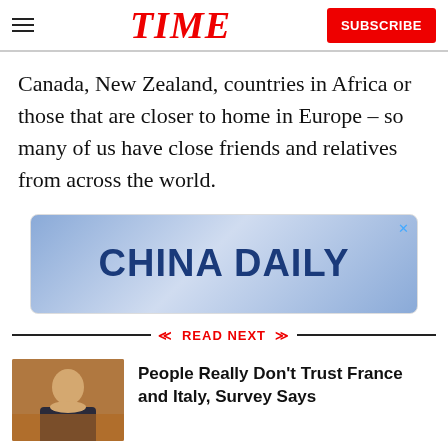TIME | SUBSCRIBE
Canada, New Zealand, countries in Africa or those that are closer to home in Europe – so many of us have close friends and relatives from across the world.
[Figure (other): China Daily advertisement banner with blue gradient background and bold dark blue text reading CHINA DAILY]
READ NEXT
[Figure (photo): Thumbnail photo of a man in a suit, used as article preview image]
People Really Don't Trust France and Italy, Survey Says